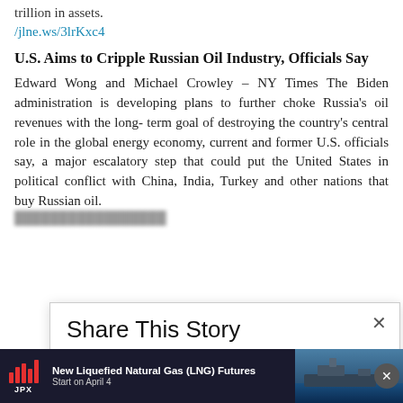trillion in assets.
/jlne.ws/3lrKxc4
U.S. Aims to Cripple Russian Oil Industry, Officials Say
Edward Wong and Michael Crowley – NY Times
The Biden administration is developing plans to further choke Russia's oil revenues with the long-term goal of destroying the country's central role in the global energy economy, current and former U.S. officials say, a major escalatory step that could put the United States in political conflict with China, India, Turkey and other nations that buy Russian oil.
Share This Story
[Figure (screenshot): Social share buttons: Facebook (blue), LinkedIn (blue), Twitter/X (light blue), Reddit (orange-red), and one grey circle button.]
[Figure (logo): OptinMonster branding badge in grey background with green monster icon]
[Figure (infographic): Bottom advertisement bar for JPX New Liquefied Natural Gas (LNG) Futures, Start on April 4, with red bar chart icon, text and ship image on dark background. Close (X) button on right.]